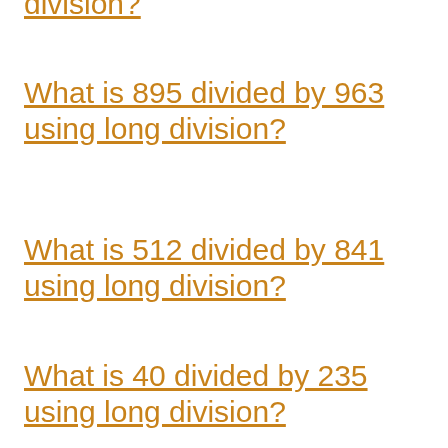division?
What is 895 divided by 963 using long division?
What is 512 divided by 841 using long division?
What is 40 divided by 235 using long division?
What is 527 divided by 965 using long division?
What is 497 divided by 673 using long division?